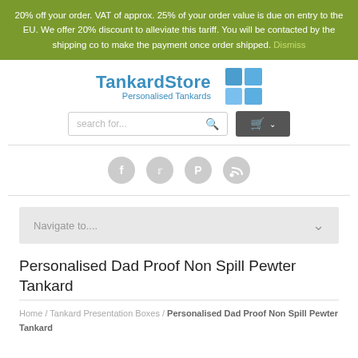20% off your order. VAT of approx. 25% of your order value is due on entry to the EU. We offer 20% discount to alleviate this tariff. You will be contacted by the shipping co to make the payment once order shipped. Dismiss
TankardStore Personalised Tankards
[Figure (other): 2x2 grid icon in blue/teal colors]
[Figure (other): Search bar with search icon]
[Figure (other): Shopping cart button with chevron]
[Figure (other): Social media icons: Facebook, Twitter, Pinterest, RSS]
Navigate to....
Personalised Dad Proof Non Spill Pewter Tankard
Home / Tankard Presentation Boxes / Personalised Dad Proof Non Spill Pewter Tankard